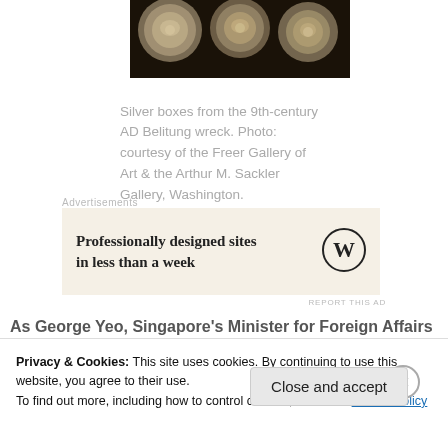[Figure (photo): Close-up photo of ornate silver boxes from the 9th-century AD Belitung wreck, shown against a dark background.]
Silver boxes from the 9th-century AD Belitung wreck. Photo: courtesy of the Freer Gallery of Art & the Arthur M. Sackler Gallery, Washington.
[Figure (screenshot): Advertisement banner: 'Professionally designed sites in less than a week' with WordPress logo on a cream background.]
As George Yeo, Singapore's Minister for Foreign Affairs
Privacy & Cookies: This site uses cookies. By continuing to use this website, you agree to their use. To find out more, including how to control cookies, see here: Cookie Policy
Close and accept